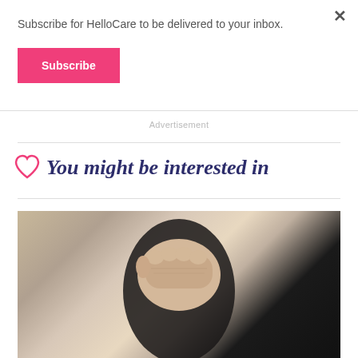Subscribe for HelloCare to be delivered to your inbox.
Subscribe
×
Advertisement
♥ You might be interested in
[Figure (photo): Close-up photo of an elderly person's hand forming a fist, with dark sleeve visible in background]